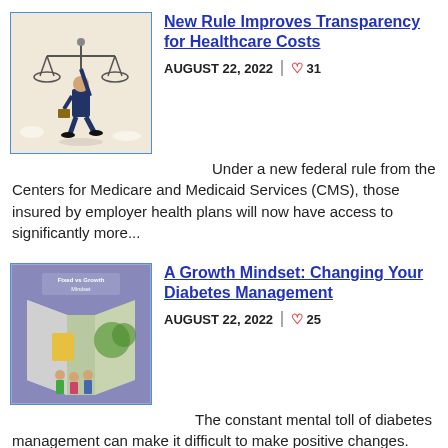[Figure (illustration): Illustration of a businessman holding a balance scale, set against a beige/tan background]
New Rule Improves Transparency for Healthcare Costs
AUGUST 22, 2022  31
Under a new federal rule from the Centers for Medicare and Medicaid Services (CMS), those insured by employer health plans will now have access to significantly more...
[Figure (illustration): Illustration with 'Fixed vs Growth Mindset' text and figures of people on a purple/blue background]
A Growth Mindset: Changing Your Diabetes Management
AUGUST 22, 2022  25
The constant mental toll of diabetes management can make it difficult to make positive changes. Experts at the Association of Diabetes Care and Education